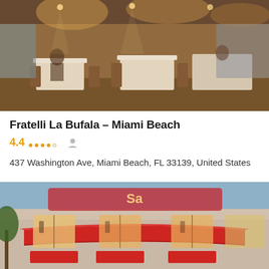[Figure (photo): Interior of Fratelli La Bufala restaurant showing dining tables with white tablecloths, warm lighting, and a cozy atmosphere]
Fratelli La Bufala – Miami Beach
4.4  ....  (star rating icons)
437 Washington Ave, Miami Beach, FL 33139, United States
[Figure (photo): Exterior of a restaurant with red awnings and outdoor seating area, text partially visible at top]